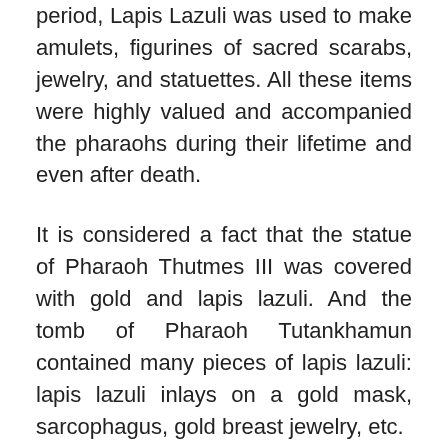period, Lapis Lazuli was used to make amulets, figurines of sacred scarabs, jewelry, and statuettes. All these items were highly valued and accompanied the pharaohs during their lifetime and even after death.
It is considered a fact that the statue of Pharaoh Thutmes III was covered with gold and lapis lazuli. And the tomb of Pharaoh Tutankhamun contained many pieces of lapis lazuli: lapis lazuli inlays on a gold mask, sarcophagus, gold breast jewelry, etc.
When performing temple rituals, the priests would cover themselves with blue paint made of